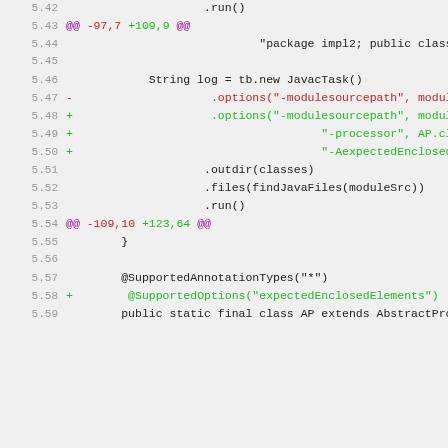[Figure (screenshot): Code diff view showing lines 5.42 to 5.59 of a Java source file with added and removed lines, line numbers in grey, deletions in red, additions in green, and hunk headers in purple.]